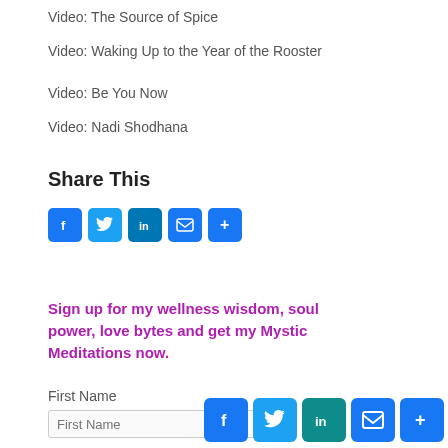Video: The Source of Spice
Video: Waking Up to the Year of the Rooster
Video: Be You Now
Video: Nadi Shodhana
Share This
[Figure (infographic): Social share buttons: Facebook, Twitter, LinkedIn, Email, Plus]
Sign up for my wellness wisdom, soul power, love bytes and get my Mystic Meditations now.
First Name
[Figure (infographic): Bottom floating social share bar: Facebook, Twitter, LinkedIn, Email, Plus]